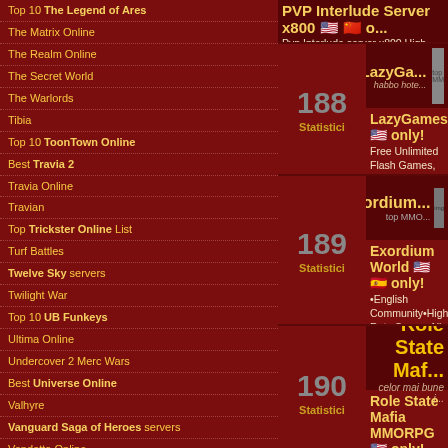Top 10 The Legend of Ares
The Matrix Online
The Realm Online
The Secret World
The Warlords
Tibia
Top 10 ToonTown Online
Best Travia 2
Travia Online
Travian
Top Trickster Online List
Turf Battles
Twelve Sky servers
Twilight War
Top 10 UB Funkeys
Ultima Online
Undercover 2 Merc Wars
Best Universe Online
Valhyre
Vanguard Saga of Heroes servers
Vendetta Online
Best Voyage Century
WWII Online
WYD2
Top Wakfu List
PVP Interlude Server x800 — Pvp Interlude server x800 High online OFF Platfo...
188 Statistici
LazyGames only! — Free Unlimited Flash Games, Good Staff, Nice La...
189 Statistici
Exordium World only! — English Community·High Rate Server·All expans... fully customized equipment, items·Tons of new str... support of player community·.
190 Statistici
Role State Mafia MMORPG only! — A Online fair game play Mafia Web Based Browse... crimes, steal cars, get weapons, Work out at the g... leaderboards and dominate everyone in your way...